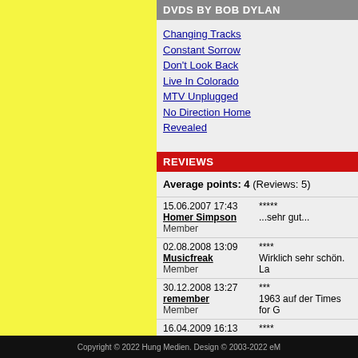DVDS BY BOB DYLAN
Changing Tracks
Constant Sorrow
Don't Look Back
Live In Colorado
MTV Unplugged
No Direction Home
Revealed
REVIEWS
Average points: 4 (Reviews: 5)
15.06.2007 17:43
Homer Simpson
Member
*****
...sehr gut...
02.08.2008 13:09
Musicfreak
Member
****
Wirklich sehr schön. La
30.12.2008 13:27
remember
Member
***
1963 auf der Times for G
16.04.2009 16:13
Dino-Canarias
Member
****
Eher durchschnittliche M
08.12.2011 17:43
fleet61
Member
****
... okay ...
Add a review
Copyright © 2022 Hung Medien. Design © 2003-2022 eM